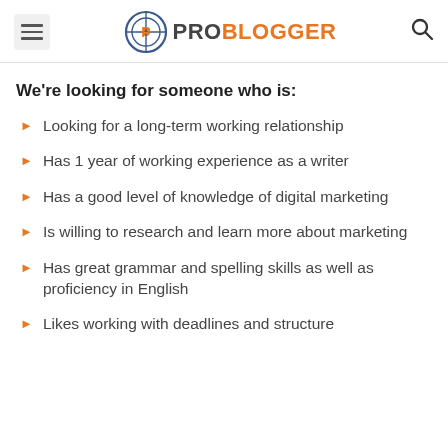ProBlogger
We're looking for someone who is:
Looking for a long-term working relationship
Has 1 year of working experience as a writer
Has a good level of knowledge of digital marketing
Is willing to research and learn more about marketing
Has great grammar and spelling skills as well as proficiency in English
Likes working with deadlines and structure